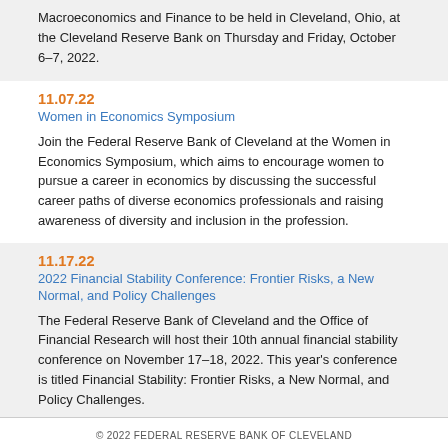Macroeconomics and Finance to be held in Cleveland, Ohio, at the Cleveland Reserve Bank on Thursday and Friday, October 6–7, 2022.
11.07.22
Women in Economics Symposium
Join the Federal Reserve Bank of Cleveland at the Women in Economics Symposium, which aims to encourage women to pursue a career in economics by discussing the successful career paths of diverse economics professionals and raising awareness of diversity and inclusion in the profession.
11.17.22
2022 Financial Stability Conference: Frontier Risks, a New Normal, and Policy Challenges
The Federal Reserve Bank of Cleveland and the Office of Financial Research will host their 10th annual financial stability conference on November 17–18, 2022. This year's conference is titled Financial Stability: Frontier Risks, a New Normal, and Policy Challenges.
© 2022 FEDERAL RESERVE BANK OF CLEVELAND